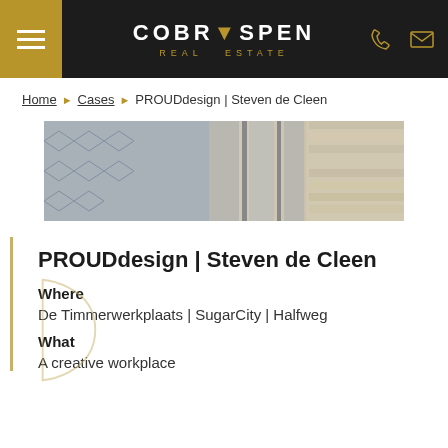COBRASPEN REAL ESTATE
Home › Cases › PROUDdesign | Steven de Cleen
[Figure (photo): Close-up photo of architectural facade detail with diamond-pattern tiling and vertical structural elements, blending into a stone wall texture.]
PROUDdesign | Steven de Cleen
Where
De Timmerwerkplaats | SugarCity | Halfweg
What
A creative workplace